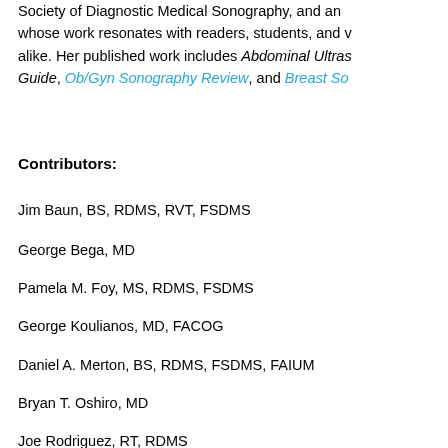Society of Diagnostic Medical Sonography, and an whose work resonates with readers, students, and alike. Her published work includes Abdominal Ultras Guide, Ob/Gyn Sonography Review, and Breast So
Contributors:
Jim Baun, BS, RDMS, RVT, FSDMS
George Bega, MD
Pamela M. Foy, MS, RDMS, FSDMS
George Koulianos, MD, FACOG
Daniel A. Merton, BS, RDMS, FSDMS, FAIUM
Bryan T. Oshiro, MD
Joe Rodriguez, RT, RDMS
Misty H. Sliman, BS, RT(R)(S), RDMS
Return to top
Sample
Click on the image below to preview this publication
[Figure (other): Banner image with 'Ultrasound' text in white on blue gradient background]